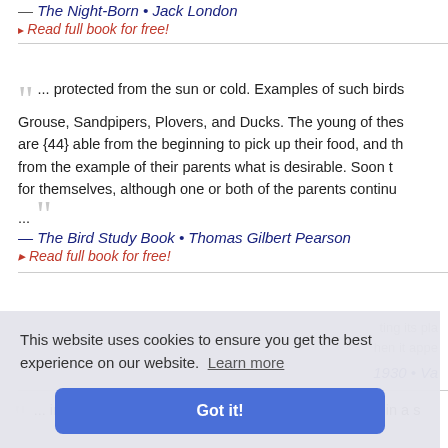— The Night-Born • Jack London
▸ Read full book for free!
... protected from the sun or cold. Examples of such birds are Grouse, Sandpipers, Plovers, and Ducks. The young of these are {44} able from the beginning to pick up their food, and th from the example of their parents what is desirable. Soon th for themselves, although one or both of the parents continue ...
— The Bird Study Book • Thomas Gilbert Pearson
▸ Read full book for free!
ting its place hen it appe
1930 • Va
This website uses cookies to ensure you get the best experience on our website. Learn more
Got it!
... in the  danger buildings  for ten and a half hours in a s